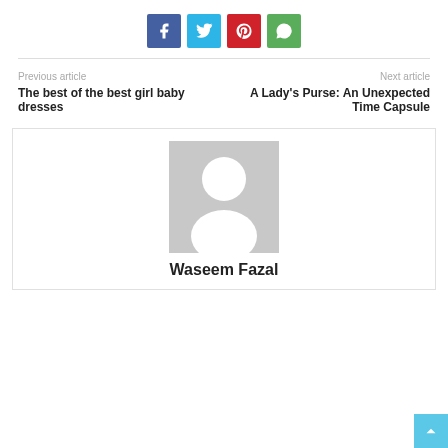[Figure (other): Social sharing buttons: Facebook (blue), Twitter (light blue), Pinterest (red), WhatsApp (green)]
Previous article
Next article
The best of the best girl baby dresses
A Lady's Purse: An Unexpected Time Capsule
[Figure (photo): Default avatar placeholder image (grey background with white silhouette of a person)]
Waseem Fazal